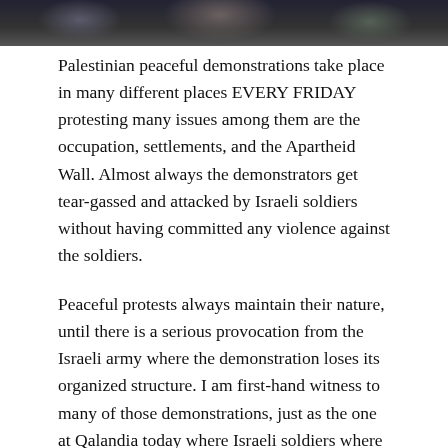[Figure (photo): Cropped photo strip at top of page showing a crowd of people, partially visible, dark tones]
Palestinian peaceful demonstrations take place in many different places EVERY FRIDAY protesting many issues among them are the occupation, settlements, and the Apartheid Wall. Almost always the demonstrators get tear-gassed and attacked by Israeli soldiers without having committed any violence against the soldiers.
Peaceful protests always maintain their nature, until there is a serious provocation from the Israeli army where the demonstration loses its organized structure. I am first-hand witness to many of those demonstrations, just as the one at Qalandia today where Israeli soldiers where the first to provoke acts of aggression.
The organizers of Today’s event “Knocking on Jerusalem’s doors,” did their best to maintain a peaceful non-violent nature of the protest, and they succeeded. There were over